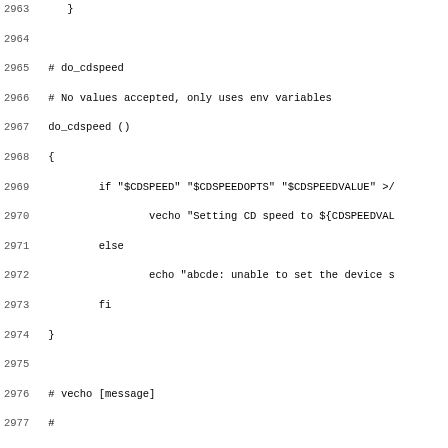Code listing lines 2963-2995, shell script functions do_cdspeed, vecho, decho
2963    }
2964
2965 # do_cdspeed
2966 # No values accepted, only uses env variables
2967 do_cdspeed ()
2968 {
2969         if "$CDSPEED" "$CDSPEEDOPTS" "$CDSPEEDVALUE" >/
2970                 vecho "Setting CD speed to ${CDSPEEDVAL
2971         else
2972                 echo "abcde: unable to set the device s
2973         fi
2974 }
2975
2976 # vecho [message]
2977 #
2978 # vecho outputs a message if EXTRAVERBOSE is selected
2979 vecho ()
2980 {
2981 if [ x"$EXTRAVERBOSE" != "x" ]; then
2982         case $1 in
2983                 warning) shift ; log warning "$@" ;;
2984                 *) echo "$@" ;;
2985         esac
2986 fi
2987 }
2988
2989 # decho [message]
2990 #
2991 # decho outputs a debug message if DEBUG is selected
2992 decho ()
2993 {
2994 if [ x"$DEBUG" != "x" ]; then
2995         if echo $1 | grep "^\[" > /dev/null 2>&1 ; the